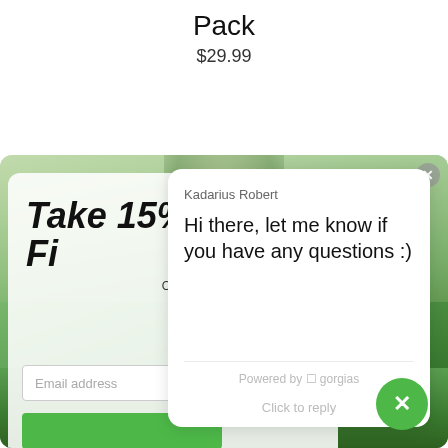Pack
$29.99
[Figure (screenshot): Screenshot of a website showing a golf course background with a popup modal displaying 'Take 15% Off' promotional banner with email input field, overlaid by a Gorgias chat widget from 'Kadarius Robert' saying 'Hi there, let me know if you have any questions :)' with 'Powered by gorgias' and 'Click to reply' text, plus a green close button at bottom right.]